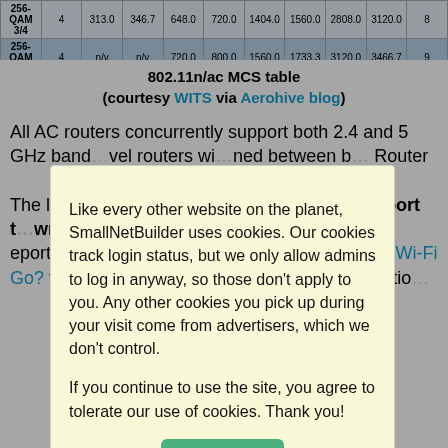|  |  |  |  |  |  |  |  |  |  |  |
| --- | --- | --- | --- | --- | --- | --- | --- | --- | --- | --- |
| 256-QAM 3/4 | 4 | 313.0 | 346.7 | 648.0 | 720.0 | 1404.0 | 1560.0 | 2808.0 | 3120.0 | 8 |
| 256-QAM 5/6 | 4 | n/v | n/v | 720.0 | 800.0 | 1560.0 | 1733.3 | 3120.0 | 3466.7 | 9 |
802.11n/ac MCS table
(courtesy WITS via Aerohive blog)
All AC routers concurrently support both 2.4 and 5 GHz band... [text partially obscured by modal] ...vel routers wi... ...ned between b... Router

The last th... ese link rates is tha... need to support t... wn. If you have an N... 00 router, the highes... eported by the de... at settings you futz w... Your Wi-Fi Go? tak... tions, so that you ca... or any combinatio...
Like every other website on the planet, SmallNetBuilder uses cookies. Our cookies track login status, but we only allow admins to log in anyway, so those don't apply to you. Any other cookies you pick up during your visit come from advertisers, which we don't control.
If you continue to use the site, you agree to tolerate our use of cookies. Thank you!